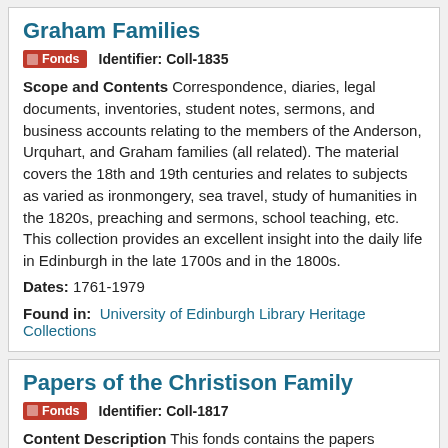Graham Families
Fonds   Identifier: Coll-1835
Scope and Contents Correspondence, diaries, legal documents, inventories, student notes, sermons, and business accounts relating to the members of the Anderson, Urquhart, and Graham families (all related). The material covers the 18th and 19th centuries and relates to subjects as varied as ironmongery, sea travel, study of humanities in the 1820s, preaching and sermons, school teaching, etc. This collection provides an excellent insight into the daily life in Edinburgh in the late 1700s and in the 1800s.
Dates: 1761-1979
Found in: University of Edinburgh Library Heritage Collections
Papers of the Christison Family
Fonds   Identifier: Coll-1817
Content Description This fonds contains the papers